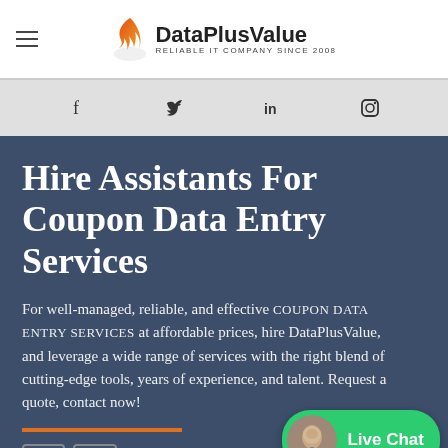[Figure (logo): DataPlusValue logo with flame icon and text 'RELIABLE IT COMPANY SINCE 2008']
DataPlusValue — RELIABLE IT COMPANY SINCE 2008
[Figure (infographic): Social media icons bar: Facebook, Twitter, LinkedIn, Instagram]
Hire Assistants For Coupon Data Entry Services
For well-managed, reliable, and effective COUPON DATA ENTRY SERVICES at affordable prices, hire DataPlusValue, and leverage a wide range of services with the right blend of cutting-edge tools, years of experience, and talent. Request a quote, contact now!
[Figure (infographic): Live Chat widget with avatar photo and green button labeled 'Live Chat']